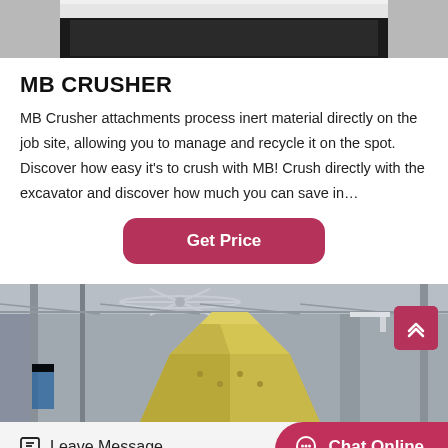[Figure (photo): Top portion of an industrial machine or equipment, showing metal frame structure against a light background]
MB CRUSHER
MB Crusher attachments process inert material directly on the job site, allowing you to manage and recycle it on the spot. Discover how easy it's to crush with MB! Crush directly with the excavator and discover how much you can save in…
[Figure (other): Get Price button — pink/crimson rounded rectangle button]
[Figure (photo): Interior of an industrial factory/warehouse showing large yellow cone-shaped crusher equipment, steel structure, overhead fans, and a pink scroll-up arrow button overlay]
[Figure (other): Bottom bar with Leave Message icon-button on left and Chat Online pink pill button on right]